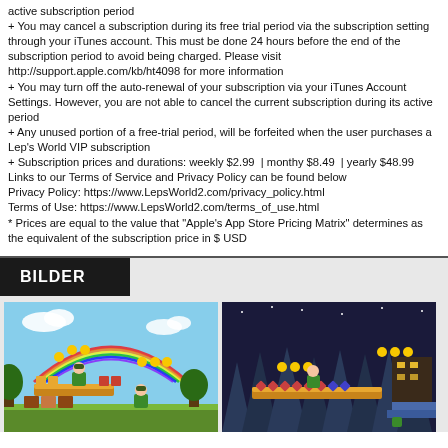active subscription period
+ You may cancel a subscription during its free trial period via the subscription setting through your iTunes account. This must be done 24 hours before the end of the subscription period to avoid being charged. Please visit http://support.apple.com/kb/ht4098 for more information
+ You may turn off the auto-renewal of your subscription via your iTunes Account Settings. However, you are not able to cancel the current subscription during its active period
+ Any unused portion of a free-trial period, will be forfeited when the user purchases a Lep's World VIP subscription
+ Subscription prices and durations: weekly $2.99 | monthy $8.49 | yearly $48.99
Links to our Terms of Service and Privacy Policy can be found below
Privacy Policy: https://www.LepsWorld2.com/privacy_policy.html
Terms of Use: https://www.LepsWorld2.com/terms_of_use.html
* Prices are equal to the value that "Apple's App Store Pricing Matrix" determines as the equivalent of the subscription price in $ USD
BILDER
[Figure (screenshot): Lep's World game screenshot showing a colorful daytime platformer level with rainbow, green character, coins, and platforms]
[Figure (screenshot): Lep's World game screenshot showing a dark cave/night platformer level with blue-lit rocky spikes, coins, and platforms]